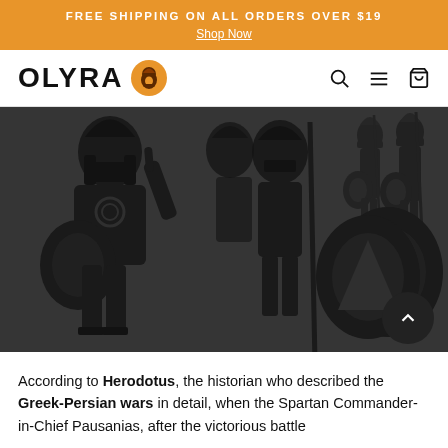FREE SHIPPING ON ALL ORDERS OVER $19 — Shop Now
[Figure (logo): OLYRA logo with Greek coin icon]
[Figure (illustration): Dark background illustration of ancient Greek Spartan warriors in silhouette style, wearing helmets and carrying shields and spears]
According to Herodotus, the historian who described the Greek-Persian wars in detail, when the Spartan Commander-in-Chief Pausanias, after the victorious battle